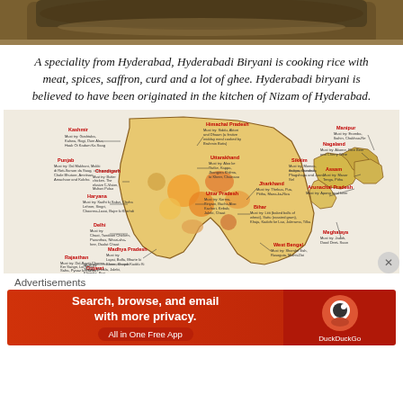[Figure (photo): Top portion of a bowl of Hyderabadi Biryani, showing the rim and contents]
A speciality from Hyderabad, Hyderabadi Biryani is cooking rice with meat, spices, saffron, curd and a lot of ghee. Hyderabadi biryani is believed to have been originated in the kitchen of Nizam of Hyderabad.
[Figure (map): Map of India showing regional food specialities and must-try dishes for each state including Rajasthan, Gujarat, Maharashtra, Madhya Pradesh, West Bengal, Kerala, Uttar Pradesh, Delhi, Punjab, Haryana, Chandigarh, Kashmir, Himachal Pradesh, Uttarakhand, Jharkhand, Bihar, Sikkim, Manipur, Nagaland, Assam, Arunachal Pradesh, Meghalaya and others]
Advertisements
[Figure (screenshot): DuckDuckGo advertisement banner reading: Search, browse, and email with more privacy. All in One Free App]